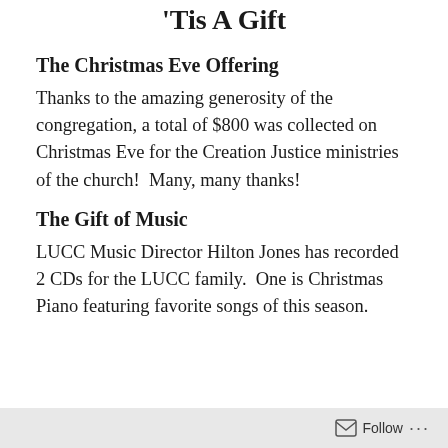'Tis A Gift
The Christmas Eve Offering
Thanks to the amazing generosity of the congregation, a total of $800 was collected on Christmas Eve for the Creation Justice ministries of the church!  Many, many thanks!
The Gift of Music
LUCC Music Director Hilton Jones has recorded 2 CDs for the LUCC family.  One is Christmas Piano featuring favorite songs of this season.
Follow